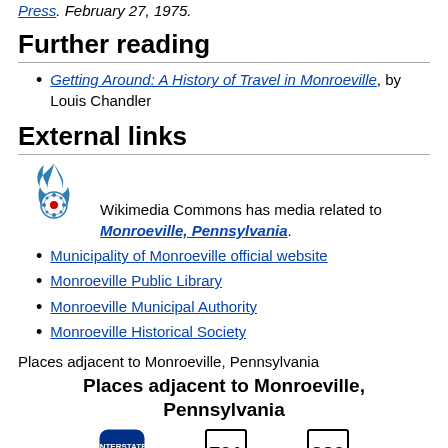Press. February 27, 1975.
Further reading
Getting Around: A History of Travel in Monroeville, by Louis Chandler
External links
[Figure (logo): Wikimedia Commons logo - flame with circular emblem]
Wikimedia Commons has media related to Monroeville, Pennsylvania.
Municipality of Monroeville official website
Monroeville Public Library
Monroeville Municipal Authority
Monroeville Historical Society
Places adjacent to Monroeville, Pennsylvania
Places adjacent to Monroeville, Pennsylvania
[Figure (infographic): Road signs: Interstate 76, Route 791, Route 380]